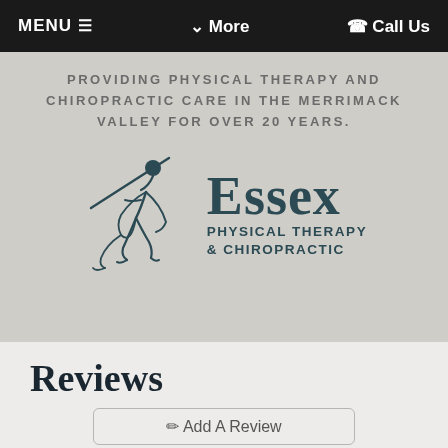MENU ≡   ❯ More   ☎ Call Us
PROVIDING PHYSICAL THERAPY AND CHIROPRACTIC CARE IN THE MERRIMACK VALLEY FOR OVER 20 YEARS.
[Figure (logo): Essex Physical Therapy & Chiropractic logo with stylized figure holding a staff and text 'Essex PHYSICAL THERAPY & CHIROPRACTIC']
Reviews
✎ Add A Review